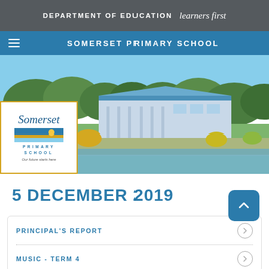DEPARTMENT OF EDUCATION learners first
SOMERSET PRIMARY SCHOOL
[Figure (photo): Aerial/ground-level photo of Somerset Primary School building with surrounding trees and gardens. School logo card overlaid on bottom-left showing 'Somerset PRIMARY SCHOOL' with tagline 'Our future starts here'.]
5 DECEMBER 2019
PRINCIPAL'S REPORT
MUSIC - TERM 4